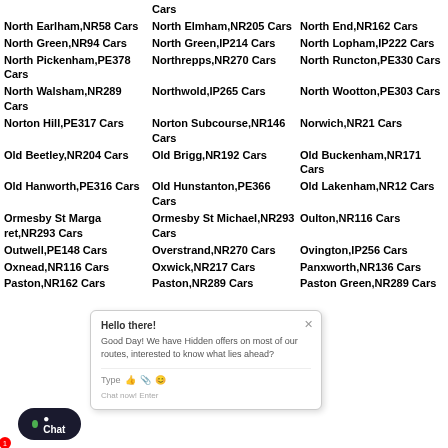Cars
North Earlham,NR58 Cars
North Elmham,NR205 Cars
North End,NR162 Cars
North Green,NR94 Cars
North Green,IP214 Cars
North Lopham,IP222 Cars
North Pickenham,PE378 Cars
Northrepps,NR270 Cars
North Runcton,PE330 Cars
North Walsham,NR289 Cars
Northwold,IP265 Cars
North Wootton,PE303 Cars
Norton Hill,PE317 Cars
Norton Subcourse,NR146 Cars
Norwich,NR21 Cars
Old Beetley,NR204 Cars
Old Brigg,NR192 Cars
Old Buckenham,NR171 Cars
Old Hunstanton,PE366 Cars
Old Lakenham,NR12 Cars
Ormesby St Margaret,NR293 Cars
Ormesby St Michael,NR293 Cars
Oulton,NR116 Cars
Outwell,PE148 Cars
Overstrand,NR270 Cars
Ovington,IP256 Cars
Oxnead,NR116 Cars
Oxwick,NR217 Cars
Panxworth,NR136 Cars
Paston,NR162 Cars
Paston,NR289 Cars
Paston Green,NR289 Cars